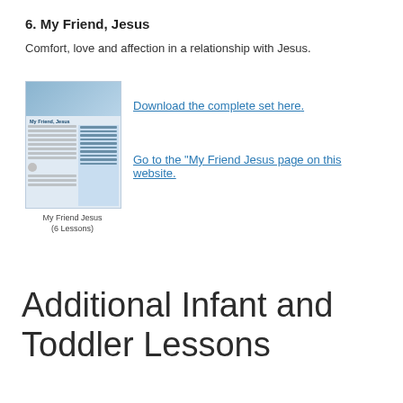6. My Friend, Jesus
Comfort, love and affection in a relationship with Jesus.
[Figure (illustration): Thumbnail image of the 'My Friend, Jesus' lesson booklet showing a blue-themed page with text columns.]
My Friend Jesus
(6 Lessons)
Download the complete set here.
Go to the “My Friend Jesus page on this website.
Additional Infant and Toddler Lessons